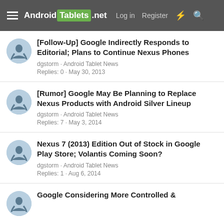Android Tablets .net  Log in  Register
[Follow-Up] Google Indirectly Responds to Editorial; Plans to Continue Nexus Phones
dgstorm · Android Tablet News
Replies: 0 · May 30, 2013
[Rumor] Google May Be Planning to Replace Nexus Products with Android Silver Lineup
dgstorm · Android Tablet News
Replies: 7 · May 3, 2014
Nexus 7 (2013) Edition Out of Stock in Google Play Store; Volantis Coming Soon?
dgstorm · Android Tablet News
Replies: 1 · Aug 6, 2014
Google Considering More Controlled &